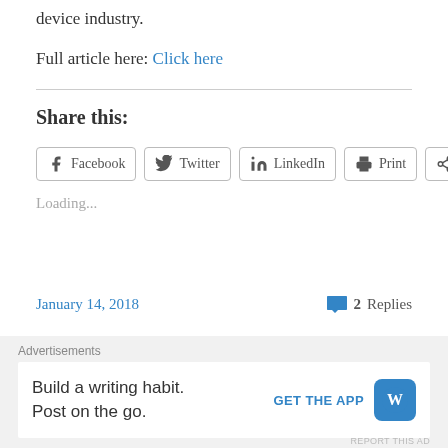device industry.
Full article here: Click here
Share this:
Facebook  Twitter  LinkedIn  Print  More
Loading...
January 14, 2018
2 Replies
Advertisements
Build a writing habit. Post on the go.
GET THE APP